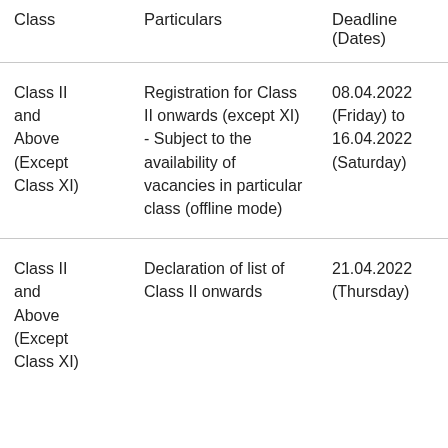| Class | Particulars | Deadline (Dates) |
| --- | --- | --- |
| Class II and Above (Except Class XI) | Registration for Class II onwards (except XI) - Subject to the availability of vacancies in particular class (offline mode) | 08.04.2022 (Friday) to 16.04.2022 (Saturday) |
| Class II and Above (Except Class XI) | Declaration of list of Class II onwards | 21.04.2022 (Thursday) |